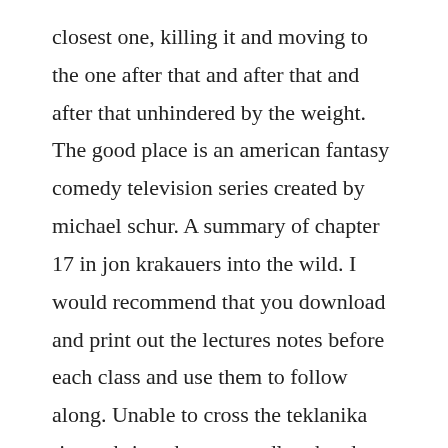closest one, killing it and moving to the one after that and after that and after that unhindered by the weight. The good place is an american fantasy comedy television series created by michael schur. A summary of chapter 17 in jon krakauers into the wild. I would recommend that you download and print out the lectures notes before each class and use them to follow along. Unable to cross the teklanika river, christopher mccandless heads back to the bus. The selection is a young adult novel by kiera cass. Aug 28, 2016